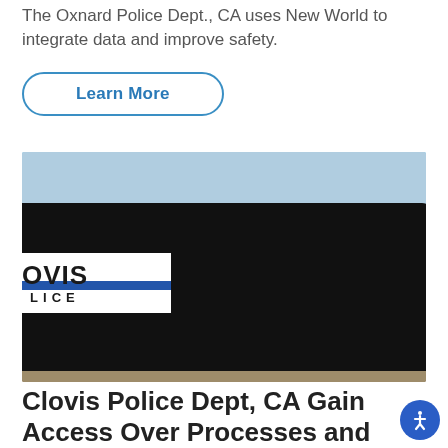The Oxnard Police Dept., CA uses New World to integrate data and improve safety.
Learn More
[Figure (photo): A Clovis Police Department black and white SUV patrol vehicle parked outdoors with a dry field and water channel visible in the background under a blue sky.]
Clovis Police Dept, CA Gain Access Over Processes and